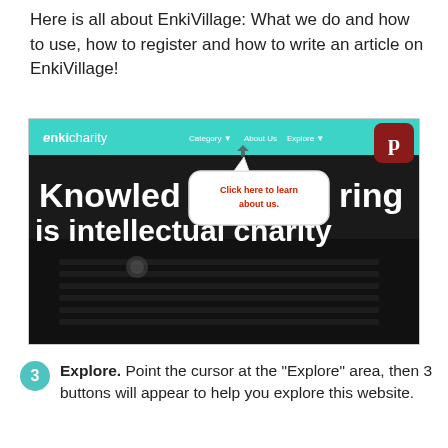Here is all about EnkiVillage: What we do and how to use, how to register and how to write an article on EnkiVillage!
[Figure (screenshot): Screenshot of the enkicharity website homepage showing a navigation bar with 'enkicharity', 'Category', 'About Us', 'Explore' links and a Pinterest icon. A speech bubble callout says 'Click here to learn about us.' overlaid on a dark background with large white text reading 'Knowledge sharing is intellectual charity']
Explore. Point the cursor at the "Explore" area, then 3 buttons will appear to help you explore this website.